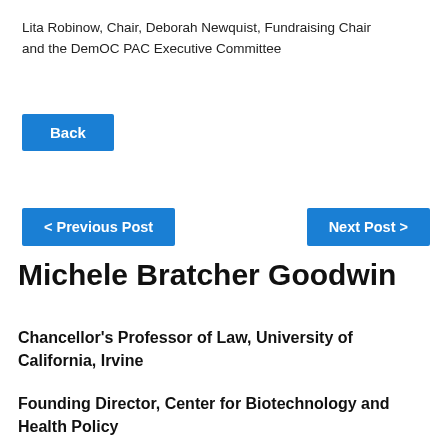Lita Robinow, Chair, Deborah Newquist, Fundraising Chair and the DemOC PAC Executive Committee
Back
< Previous Post
Next Post >
Michele Bratcher Goodwin
Chancellor's Professor of Law, University of California, Irvine
Founding Director, Center for Biotechnology and Health Policy